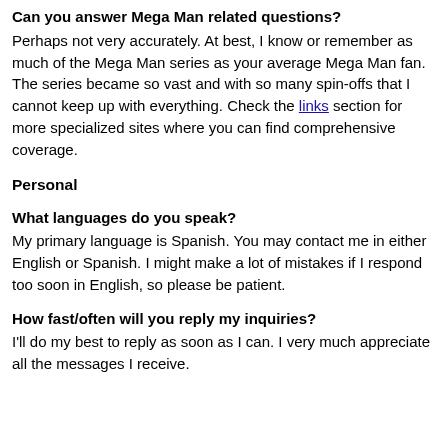Can you answer Mega Man related questions?
Perhaps not very accurately. At best, I know or remember as much of the Mega Man series as your average Mega Man fan. The series became so vast and with so many spin-offs that I cannot keep up with everything. Check the links section for more specialized sites where you can find comprehensive coverage.
Personal
What languages do you speak?
My primary language is Spanish. You may contact me in either English or Spanish. I might make a lot of mistakes if I respond too soon in English, so please be patient.
How fast/often will you reply my inquiries?
I'll do my best to reply as soon as I can. I very much appreciate all the messages I receive.